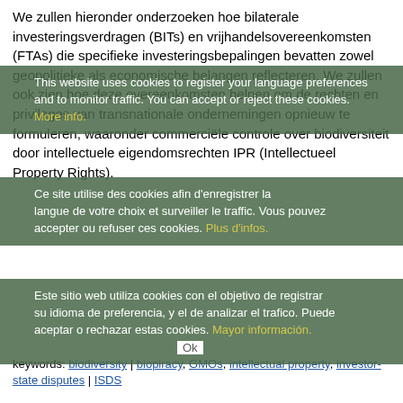We zullen hieronder onderzoeken hoe bilaterale investeringsverdragen (BITs) en vrijhandelsovereenkomsten (FTAs) die specifieke investeringsbepalingen bevatten zowel geopolitieke als economische belangen reflecteren. We zullen ook zien hoe deze overeenkomsten helpen om de rechten en privileges van transnationale ondernemingen opnieuw te formuleren, waaronder commerciële controle over biodiversiteit door intellectuele eigendomsrechten IPR (Intellectueel Property Rights).
keywords: biodiversity | biopiracy, GMOs, intellectual property, investor-state disputes | ISDS
This website uses cookies to register your language preferences and to monitor traffic. You can accept or reject these cookies. More info.
Ce site utilise des cookies afin d'enregistrer la langue de votre choix et surveiller le traffic. Vous pouvez accepter ou refuser ces cookies. Plus d'infos.
Este sitio web utiliza cookies con el objetivo de registrar su idioma de preferencia, y el de analizar el trafico. Puede aceptar o rechazar estas cookies. Mayor información.
Ok
Corporate conquest, global geopolitics: Intellectual property rights and bilateral investment treaties
Seedling | 17-Mar-2005
Examines how bilateral investment treaties and free trade agreements which contain specific investment provisions reflect geopolitical concerns and redefine rights and privileges for transnational corporations, including with respect to commercial control over